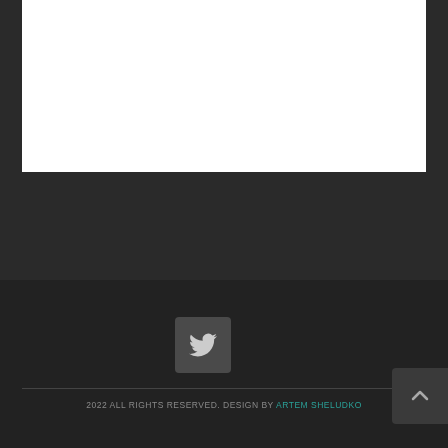[Figure (screenshot): White content area at the top of the page]
[Figure (illustration): Twitter/social media button icon in a dark rounded square]
2022 ALL RIGHTS RESERVED. DESIGN BY ARTEM SHELUDKO